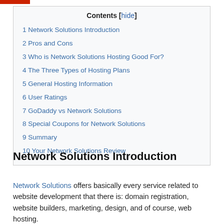| Contents |
| --- |
| 1 Network Solutions Introduction |
| 2 Pros and Cons |
| 3 Who is Network Solutions Hosting Good For? |
| 4 The Three Types of Hosting Plans |
| 5 General Hosting Information |
| 6 User Ratings |
| 7 GoDaddy vs Network Solutions |
| 8 Special Coupons for Network Solutions |
| 9 Summary |
| 10 Your Network Solutions Review |
Network Solutions Introduction
Network Solutions offers basically every service related to website development that there is: domain registration, website builders, marketing, design, and of course, web hosting.